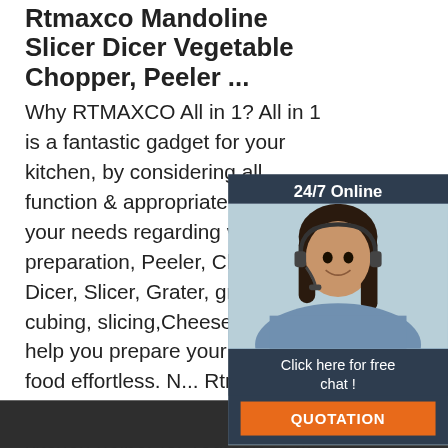Rtmaxco Mandoline Slicer Dicer Vegetable Chopper, Peeler ...
Why RTMAXCO All in 1? All in 1 is a fantastic gadget for your kitchen, by considering all function & appropriate Tools for your needs regarding vegetable preparation, Peeler, Chopper or Dicer, Slicer, Grater, gratin cubing, slicing,Cheese Grater help you prepare your favorite food effortless. N... Rtmaxco Fruit Vegetable Cuber also is kitchen helper for yourselves ...
[Figure (illustration): Chat widget with woman wearing headset, '24/7 Online' header, 'Click here for free chat!' text, and QUOTATION button]
[Figure (illustration): Orange 'Get Price' button]
[Figure (illustration): Orange dotted triangle TOP icon]
[Figure (photo): Dark bottom image strip showing kitchen product]